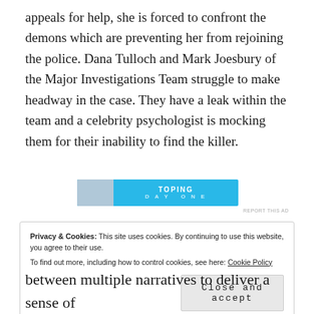appeals for help, she is forced to confront the demons which are preventing her from rejoining the police. Dana Tulloch and Mark Joesbury of the Major Investigations Team struggle to make headway in the case. They have a leak within the team and a celebrity psychologist is mocking them for their inability to find the killer.
[Figure (other): Advertisement banner with blue background, thumbnail image on left, text 'TOPING DAY ONE' in white letters]
REPORT THIS AD
Privacy & Cookies: This site uses cookies. By continuing to use this website, you agree to their use. To find out more, including how to control cookies, see here: Cookie Policy  Close and accept
between multiple narratives to deliver a sense of